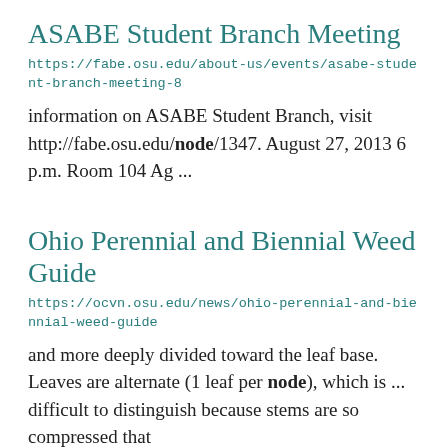ASABE Student Branch Meeting
https://fabe.osu.edu/about-us/events/asabe-student-branch-meeting-8
information on ASABE Student Branch, visit http://fabe.osu.edu/node/1347. August 27, 2013 6 p.m. Room 104 Ag ...
Ohio Perennial and Biennial Weed Guide
https://ocvn.osu.edu/news/ohio-perennial-and-biennial-weed-guide
and more deeply divided toward the leaf base. Leaves are alternate (1 leaf per node), which is ... difficult to distinguish because stems are so compressed that